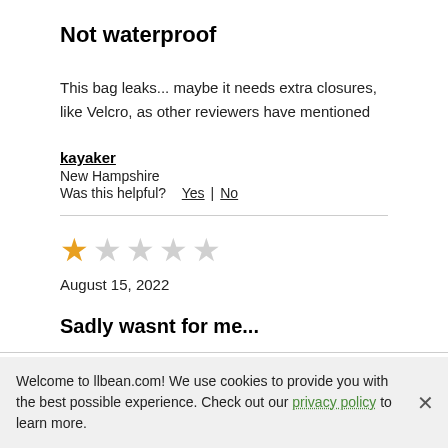Not waterproof
This bag leaks... maybe it needs extra closures, like Velcro, as other reviewers have mentioned
kayaker
New Hampshire
Was this helpful?   Yes | No
[Figure (other): 1 out of 5 stars rating (one filled gold star, four empty gray stars)]
August 15, 2022
Sadly wasnt for me...
Welcome to llbean.com! We use cookies to provide you with the best possible experience. Check out our privacy policy to learn more.